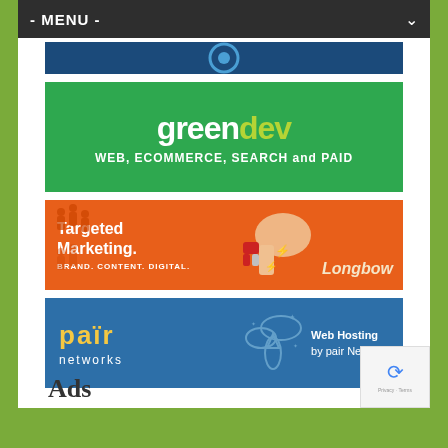- MENU -
[Figure (logo): Top dark blue banner partially visible]
[Figure (logo): greendev logo banner - green background with text 'greendev' and 'WEB, ECOMMERCE, SEARCH and PAID']
[Figure (infographic): Longbow marketing banner - orange background with hand holding magnet, text 'Targeted Marketing. BRAND. CONTENT. DIGITAL.' and Longbow logo]
[Figure (logo): pair networks banner - blue background with pair networks logo and 'Web Hosting by pair Networks']
Ads